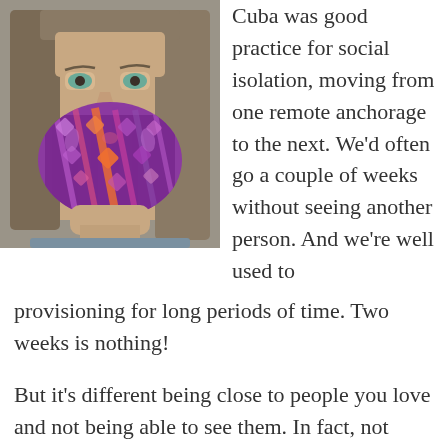[Figure (photo): A woman wearing a colorful purple and orange patterned face mask, with long straight hair, sitting in what appears to be a car interior. She is looking directly at the camera.]
Cuba was good practice for social isolation, moving from one remote anchorage to the next. We'd often go a couple of weeks without seeing another person. And we're well used to provisioning for long periods of time. Two weeks is nothing!
But it's different being close to people you love and not being able to see them. In fact, not seeing people